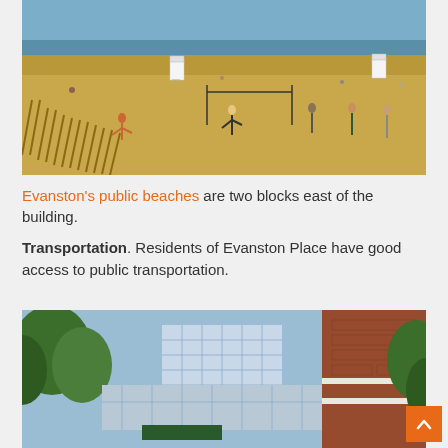[Figure (photo): Beach scene with people playing volleyball on sandy beach near Lake Michigan, with lifeguard stands visible in the background]
Evanston's public beaches are two blocks east of the building.
Transportation. Residents of Evanston Place have good access to public transportation.
[Figure (photo): Modern glass and brick building exterior surrounded by trees, appears to be a public or institutional building]